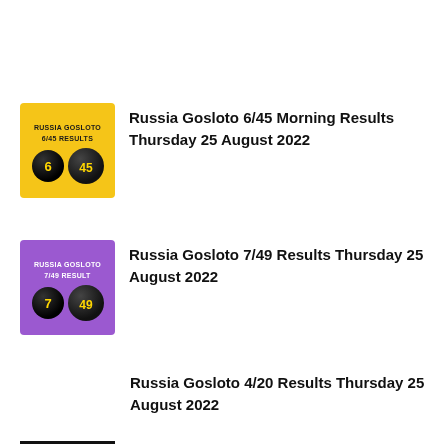[Figure (illustration): Yellow square thumbnail with text RUSSIA GOSLOTO 6/45 RESULTS and two lottery balls showing 6 and 45]
Russia Gosloto 6/45 Morning Results Thursday 25 August 2022
[Figure (illustration): Purple square thumbnail with text RUSSIA GOSLOTO 7/49 RESULT and two lottery balls showing 7 and 49]
Russia Gosloto 7/49 Results Thursday 25 August 2022
Russia Gosloto 4/20 Results Thursday 25 August 2022